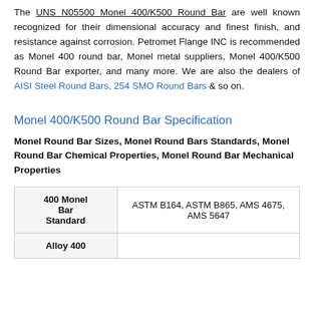The UNS N05500 Monel 400/K500 Round Bar are well known recognized for their dimensional accuracy and finest finish, and resistance against corrosion. Petromet Flange INC is recommended as Monel 400 round bar, Monel metal suppliers, Monel 400/K500 Round Bar exporter, and many more. We are also the dealers of AISI Steel Round Bars, 254 SMO Round Bars & so on.
Monel 400/K500 Round Bar Specification
Monel Round Bar Sizes, Monel Round Bars Standards, Monel Round Bar Chemical Properties, Monel Round Bar Mechanical Properties
| 400 Monel Bar Standard |  |
| --- | --- |
| 400 Monel Bar Standard | ASTM B164, ASTM B865, AMS 4675, AMS 5647 |
| Alloy 400 |  |